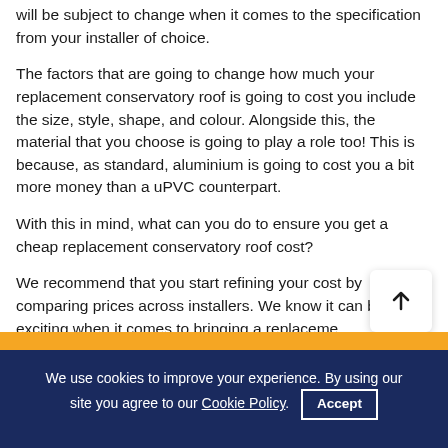will be subject to change when it comes to the specification from your installer of choice.
The factors that are going to change how much your replacement conservatory roof is going to cost you include the size, style, shape, and colour. Alongside this, the material that you choose is going to play a role too! This is because, as standard, aluminium is going to cost you a bit more money than a uPVC counterpart.
With this in mind, what can you do to ensure you get a cheap replacement conservatory roof cost?
We recommend that you start refining your cost by comparing prices across installers. We know it can be exciting when it comes to bringing a replacement conservatory roof to your home, but there is no [...]or
We use cookies to improve your experience. By using our site you agree to our Cookie Policy.  Accept